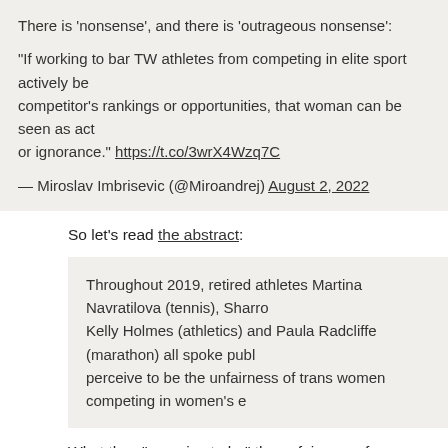There is 'nonsense', and there is 'outrageous nonsense':
"If working to bar TW athletes from competing in elite sport actively be competitor's rankings or opportunities, that woman can be seen as act or ignorance." https://t.co/3wrX4Wzq7C
— Miroslav Imbrisevic (@Miroandrej) August 2, 2022
So let's read the abstract:
Throughout 2019, retired athletes Martina Navratilova (tennis), Sharro Kelly Holmes (athletics) and Paula Radcliffe (marathon) all spoke publ perceive to be the unfairness of trans women competing in women's e
What they "perceive to be" the unfairness of men competing in women's sport ( wholly subjective, and downright … Read the rest
Posted in Notes and Comment Blog | 3 comments
Conversation